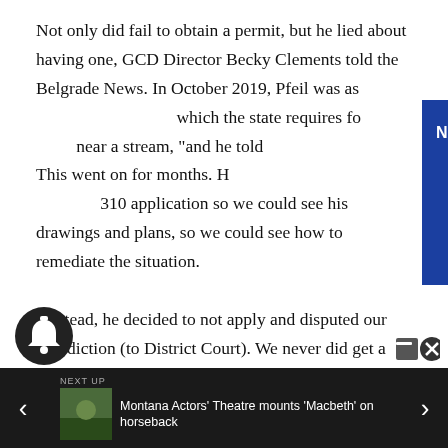Not only did fail to obtain a permit, but he lied about having one, GCD Director Becky Clements told the Belgrade News. In October 2019, Pfeil was asked about a 310 permit, which the state requires for any work near a stream, "and he told [us he had one]. This went on for months. He had. We asked him to submit a 310 application so we could see his drawings and plans, so we could see how to remediate the situation.
"Instead, he decided to not apply and disputed our jurisdiction (to District Court). We never did get a permit," Clements said.
Clements said Pfeil could still get a permit after the fact. A fine for being out of compliance is up to $500 a day.
[Figure (screenshot): Blue popup overlay with 'Non-stop news' text and close button]
[Figure (screenshot): Bottom navigation bar with NEXT UP label, thumbnail image for 'Montana Actors' Theatre mounts Macbeth on horseback', left and right arrow navigation, notification bell icon]